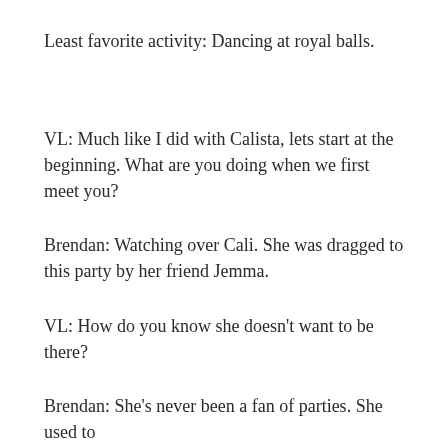Least favorite activity: Dancing at royal balls.
VL: Much like I did with Calista, lets start at the beginning. What are you doing when we first meet you?
Brendan: Watching over Cali. She was dragged to this party by her friend Jemma.
VL: How do you know she doesn’t want to be there?
Brendan: She’s never been a fan of parties. She used to